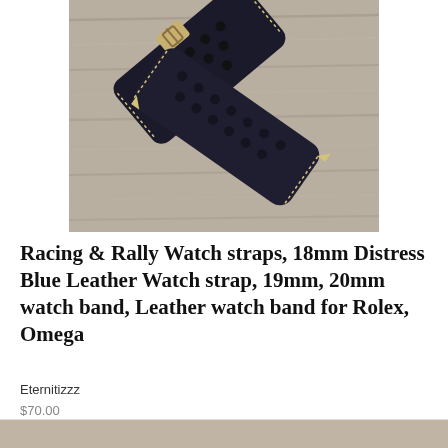[Figure (photo): Dark navy/black perforated leather racing watch strap with gold stitching and a buckle, photographed crossed over itself on a grey wood grain surface.]
Racing & Rally Watch straps, 18mm Distress Blue Leather Watch strap, 19mm, 20mm watch band, Leather watch band for Rolex, Omega
Eternitizzz
$70.00